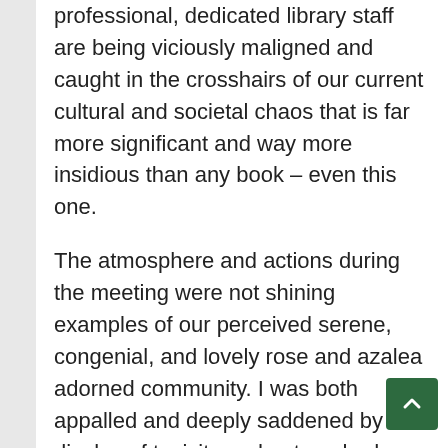professional, dedicated library staff are being viciously maligned and caught in the crosshairs of our current cultural and societal chaos that is far more significant and way more insidious than any book – even this one.
The atmosphere and actions during the meeting were not shining examples of our perceived serene, congenial, and lovely rose and azalea adorned community. I was both appalled and deeply saddened by the display of toxicity and entrenched divisions.
Yet, given the current political and social state of our nation, I can't say that I was surprised. Whether we wish to face it head-on or not, Tyler is a microcosm of all that is both ill and good with our nation politically, racially